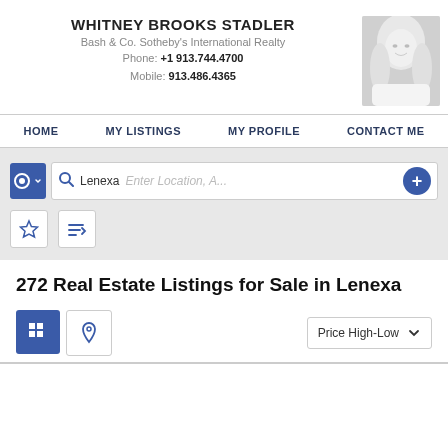WHITNEY BROOKS STADLER
Bash & Co. Sotheby's International Realty
Phone: +1 913.744.4700
Mobile: 913.486.4365
[Figure (photo): Headshot photo of Whitney Brooks Stadler, a blonde woman in a white sweater, black and white photo]
HOME   MY LISTINGS   MY PROFILE   CONTACT ME
Lenexa   Enter Location, A...
272 Real Estate Listings for Sale in Lenexa
Price High-Low